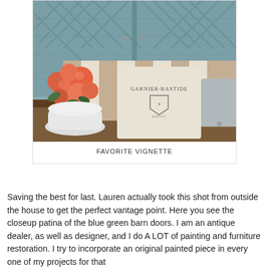[Figure (photo): Interior vignette photo showing blue-green barn doors in the background, a striped beige and white bench with pillows including one reading 'GARNIER BASTIDE', and a bouquet of coral roses in a white vase in the foreground.]
FAVORITE VIGNETTE
Saving the best for last. Lauren actually took this shot from outside the house to get the perfect vantage point. Here you see the closeup patina of the blue green barn doors. I am an antique dealer, as well as designer, and I do A LOT of painting and furniture restoration.  I try to incorporate an original painted piece in every one of my projects for that